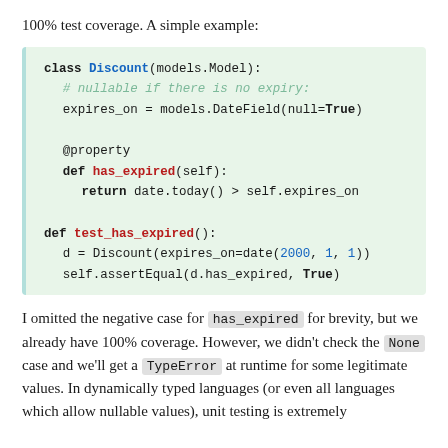100% test coverage. A simple example:
[Figure (screenshot): Python code block with green background showing a Discount model class with has_expired property and test_has_expired function]
I omitted the negative case for has_expired for brevity, but we already have 100% coverage. However, we didn't check the None case and we'll get a TypeError at runtime for some legitimate values. In dynamically typed languages (or even all languages which allow nullable values), unit testing is extremely